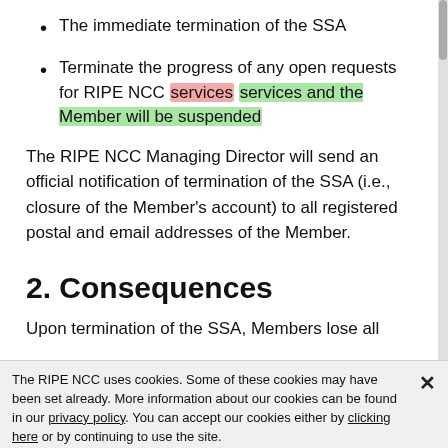The immediate termination of the SSA
Terminate the progress of any open requests for RIPE NCC services [deleted: services] and the Member will be suspended [added]
The RIPE NCC Managing Director will send an official notification of termination of the SSA (i.e., closure of the Member's account) to all registered postal and email addresses of the Member.
2. Consequences
Upon termination of the SSA, Members lose all
The RIPE NCC uses cookies. Some of these cookies may have been set already. More information about our cookies can be found in our privacy policy. You can accept our cookies either by clicking here or by continuing to use the site.